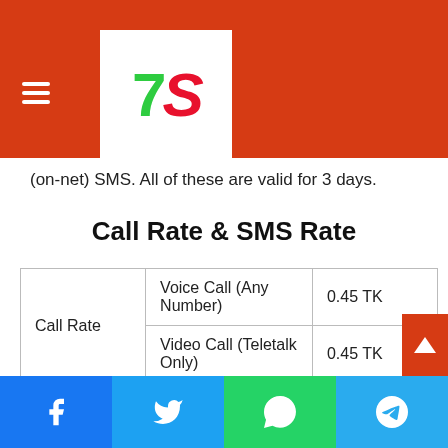[Figure (logo): 7S logo in white box on red header background with hamburger menu icon]
(on-net) SMS. All of these are valid for 3 days.
Call Rate & SMS Rate
|  |  |  |
| --- | --- | --- |
| Call Rate | Voice Call (Any Number) | 0.45 TK |
| Call Rate | Video Call (Teletalk Only) | 0.45 TK |
| SMS Rate | On-Net | 0.30 TK |
| SMS Rate | Off-Net | 0.30 TK |